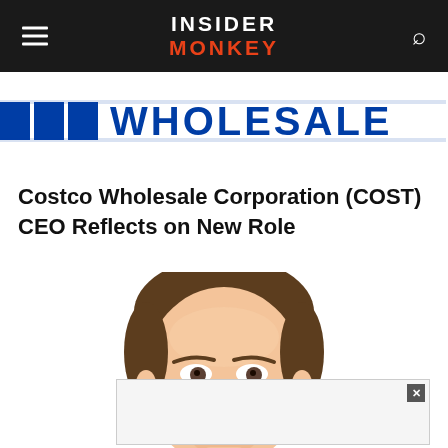INSIDER MONKEY
[Figure (illustration): Costco Wholesale logo banner — blue lines with 'WHOLESALE' text in blue/silver on white background]
Costco Wholesale Corporation (COST) CEO Reflects on New Role
[Figure (illustration): Illustrated portrait of a man (Costco CEO) — digital illustration showing face with brown hair, light skin tones, looking slightly left]
[Figure (other): Advertisement overlay box with close (x) button in upper right corner]